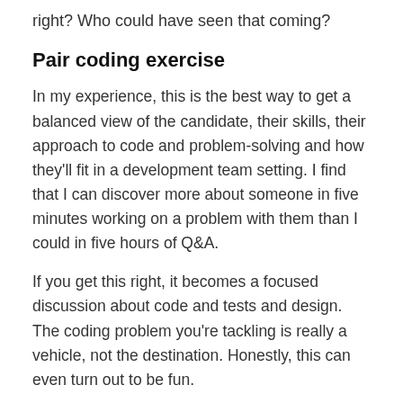right? Who could have seen that coming?
Pair coding exercise
In my experience, this is the best way to get a balanced view of the candidate, their skills, their approach to code and problem-solving and how they'll fit in a development team setting. I find that I can discover more about someone in five minutes working on a problem with them than I could in five hours of Q&A.
If you get this right, it becomes a focused discussion about code and tests and design. The coding problem you're tackling is really a vehicle, not the destination. Honestly, this can even turn out to be fun.
Pick a problem that a few skills in — one the